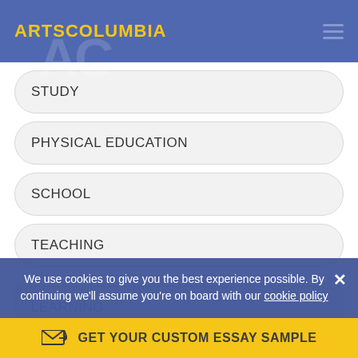ARTSCOLUMBIA
STUDY
PHYSICAL EDUCATION
SCHOOL
TEACHING
UNIVERSITY
LEARNING
We use cookies to give you the best experience possible. By continuing we'll assume you're on board with our cookie policy
GET YOUR CUSTOM ESSAY SAMPLE